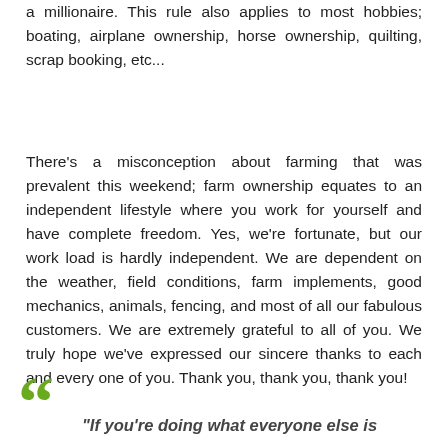a millionaire.  This rule also applies to most hobbies; boating, airplane ownership, horse ownership, quilting, scrap booking, etc...
There's a misconception about farming that was prevalent this weekend; farm ownership equates to an independent lifestyle where you work for yourself and have complete freedom.  Yes, we're fortunate, but our work load is hardly independent.  We are dependent on the weather, field conditions, farm implements, good mechanics, animals, fencing, and most of all our fabulous customers.  We are extremely grateful to all of you.  We truly hope we've expressed our sincere thanks to each and every one of you.  Thank you, thank you, thank you!
“If you're doing what everyone else is